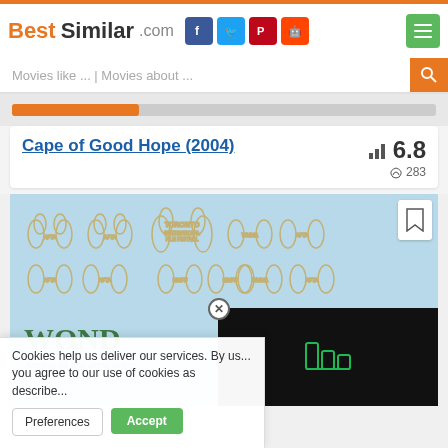BestSimilar.com
Movies like ... | Movies about ...
[Figure (screenshot): Orange progress bar partially filled on grey track]
Cape of Good Hope (2004)
6.8 rating, 283 likes
[Figure (photo): Movie poster for Cape of Good Hope (2004) showing award laurels with TORONTO film festival, WOND text, and a black video overlay with LastFM icon]
Cookies help us deliver our services. By us... you agree to our use of cookies as describe...
Preferences
Accept